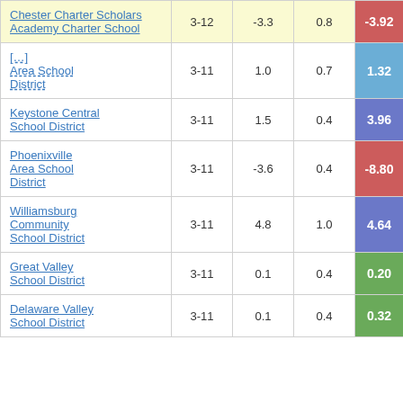| School/District | Grades | Col3 | Col4 | Score |
| --- | --- | --- | --- | --- |
| Chester Charter Scholars Academy Charter School | 3-12 | -3.3 | 0.8 | -3.92 |
| [Clipping] Area School District | 3-11 | 1.0 | 0.7 | 1.32 |
| Keystone Central School District | 3-11 | 1.5 | 0.4 | 3.96 |
| Phoenixville Area School District | 3-11 | -3.6 | 0.4 | -8.80 |
| Williamsburg Community School District | 3-11 | 4.8 | 1.0 | 4.64 |
| Great Valley School District | 3-11 | 0.1 | 0.4 | 0.20 |
| Delaware Valley School District | 3-11 | 0.1 | 0.4 | 0.32 |